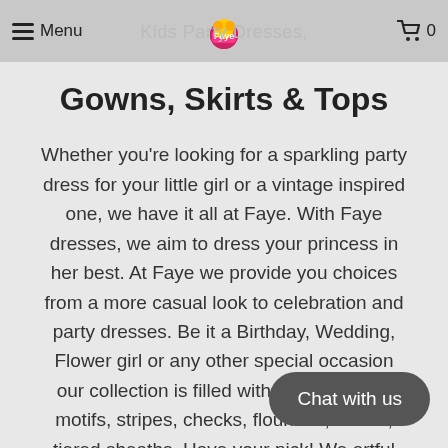Menu | Kids Party Dresses | 0
Gowns, Skirts & Tops
Whether you're looking for a sparkling party dress for your little girl or a vintage inspired one, we have it all at Faye. With Faye dresses, we aim to dress your princess in her best. At Faye we provide you choices from a more casual look to celebration and party dresses. Be it a Birthday, Wedding, Flower girl or any other special occasion our collection is filled with styles in floral motifs, stripes, checks, flounced, ruffled, tiered sheaths. Have your pick! We artful assortment of styles to bring fashion and comfort to her every day and party